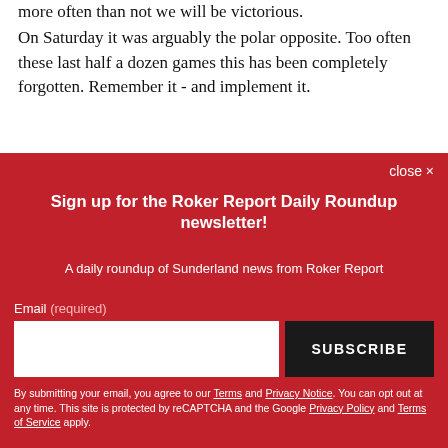more often than not we will be victorious.
On Saturday it was arguably the polar opposite. Too often these last half a dozen games this has been completely forgotten. Remember it - and implement it.
[Figure (other): Advertisement box with black background showing Honda logo (white H symbol)]
close ×
Sign up for the Roker Report Daily Roundup newsletter!
A daily roundup of Sunderland news from Roker Report
Email (required)
SUBSCRIBE
By submitting your email, you agree to our Terms and Privacy Notice. You can opt out at any time. This site is protected by reCAPTCHA and the Google Privacy Policy and Terms of Service apply.